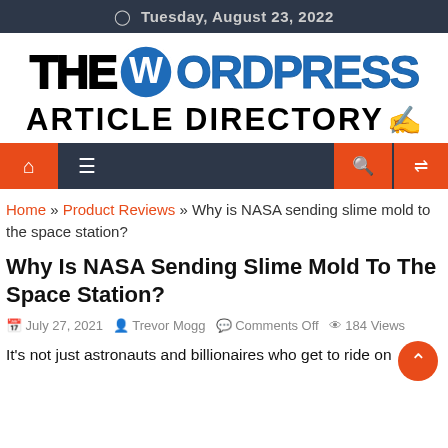Tuesday, August 23, 2022
[Figure (logo): The WordPress Article Directory logo with WordPress circular W icon and pencil illustration]
[Figure (infographic): Navigation bar with home icon, hamburger menu, search icon, and random/shuffle icon on dark and orange background]
Home » Product Reviews » Why is NASA sending slime mold to the space station?
Why Is NASA Sending Slime Mold To The Space Station?
July 27, 2021   Trevor Mogg   Comments Off   184 Views
It's not just astronauts and billionaires who get to ride on